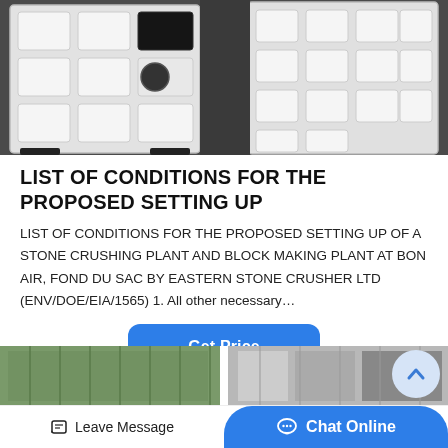[Figure (photo): Industrial stone crushing machine frames/components made of white painted cast iron or steel, displayed on a dark floor in a warehouse or factory setting.]
LIST OF CONDITIONS FOR THE PROPOSED SETTING UP
LIST OF CONDITIONS FOR THE PROPOSED SETTING UP OF A STONE CRUSHING PLANT AND BLOCK MAKING PLANT AT BON AIR, FOND DU SAC BY EASTERN STONE CRUSHER LTD (ENV/DOE/EIA/1565) 1. All other necessary…
[Figure (photo): Bottom strip showing partial images of industrial plant or equipment, used as page decoration/preview.]